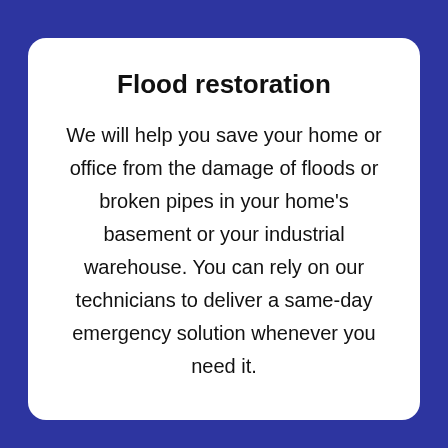Flood restoration
We will help you save your home or office from the damage of floods or broken pipes in your home’s basement or your industrial warehouse. You can rely on our technicians to deliver a same-day emergency solution whenever you need it.